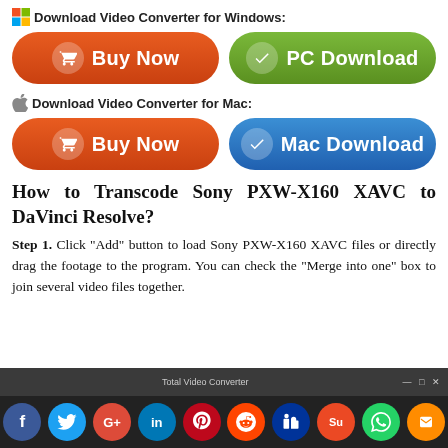Download Video Converter for Windows:
[Figure (screenshot): Two buttons: red 'Buy Now' button with cart icon and green 'PC Download' button with checkmark icon]
Download Video Converter for Mac:
[Figure (screenshot): Two buttons: red 'Buy Now' button with cart icon and blue 'Mac Download' button with checkmark icon]
How to Transcode Sony PXW-X160 XAVC to DaVinci Resolve?
Step 1. Click “Add” button to load Sony PXW-X160 XAVC files or directly drag the footage to the program. You can check the “Merge into one” box to join several video files together.
[Figure (screenshot): Bottom of page: Total Video Converter application title bar and social media sharing icons bar (Facebook, Twitter, Google+, LinkedIn, Pinterest, Reddit, Delicious, StumbleUpon, WhatsApp, Share)]